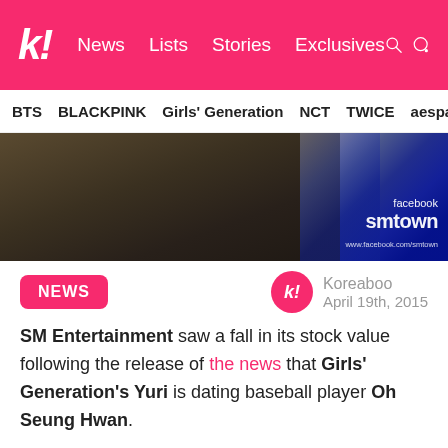k! News Lists Stories Exclusives
BTS  BLACKPINK  Girls' Generation  NCT  TWICE  aespa
[Figure (photo): Partial image showing a performer in a sparkly blue outfit, with facebook smtown watermark in bottom right]
NEWS
Koreaboo
April 19th, 2015
SM Entertainment saw a fall in its stock value following the release of the news that Girls' Generation's Yuri is dating baseball player Oh Seung Hwan.
The dating news was first released by Sunday News at 9:30AM KST on April 20th, where